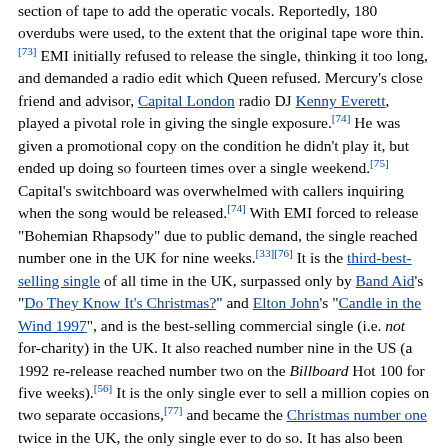section of tape to add the operatic vocals. Reportedly, 180 overdubs were used, to the extent that the original tape wore thin. [73] EMI initially refused to release the single, thinking it too long, and demanded a radio edit which Queen refused. Mercury's close friend and advisor, Capital London radio DJ Kenny Everett, played a pivotal role in giving the single exposure.[74] He was given a promotional copy on the condition he didn't play it, but ended up doing so fourteen times over a single weekend.[75] Capital's switchboard was overwhelmed with callers inquiring when the song would be released.[74] With EMI forced to release "Bohemian Rhapsody" due to public demand, the single reached number one in the UK for nine weeks.[33][76] It is the third-best-selling single of all time in the UK, surpassed only by Band Aid's "Do They Know It's Christmas?" and Elton John's "Candle in the Wind 1997", and is the best-selling commercial single (i.e. not for-charity) in the UK. It also reached number nine in the US (a 1992 re-release reached number two on the Billboard Hot 100 for five weeks).[56] It is the only single ever to sell a million copies on two separate occasions,[77] and became the Christmas number one twice in the UK, the only single ever to do so. It has also been voted the greatest song of all time in three different polls.[78][79][80]